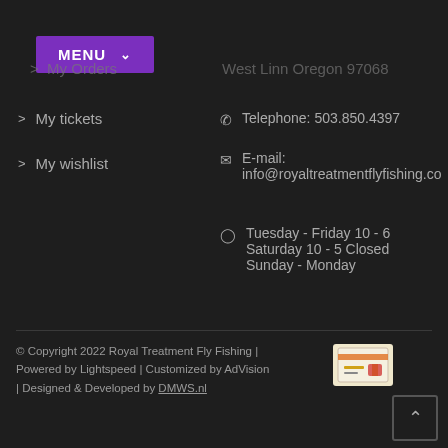[Figure (screenshot): Purple MENU button with dropdown chevron]
My Orders
West Linn Oregon 97068
> My tickets
> My wishlist
Telephone: 503.850.4397
E-mail: info@royaltreatmentflyfishing.co
Tuesday - Friday 10 - 6 Saturday 10 - 5 Closed Sunday - Monday
© Copyright 2022 Royal Treatment Fly Fishing | Powered by Lightspeed | Customized by AdVision | Designed & Developed by DMWS.nl